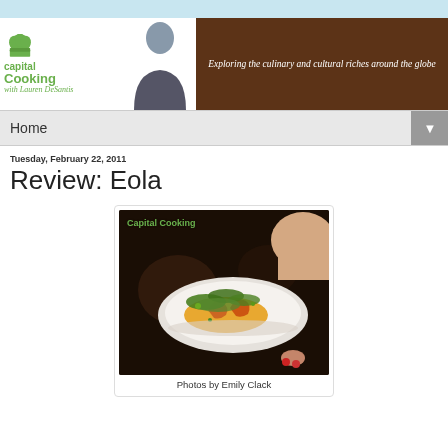[Figure (photo): Light blue top bar]
[Figure (logo): Capital Cooking with Lauren DeSantis logo - green chef hat and text on left, woman photo in center, brown banner on right with tagline 'Exploring the culinary and cultural riches around the globe']
Home ▼
Tuesday, February 22, 2011
Review: Eola
[Figure (photo): Person holding a white dish with food garnished with greens. 'Capital Cooking' watermark in green text.]
Photos by Emily Clack